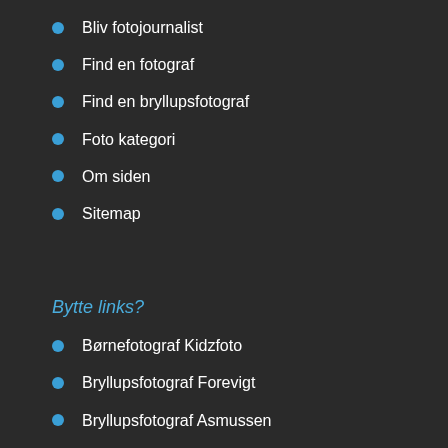Bliv fotojournalist
Find en fotograf
Find en bryllupsfotograf
Foto kategori
Om siden
Sitemap
Bytte links?
Børnefotograf Kidzfoto
Bryllupsfotograf Forevigt
Bryllupsfotograf Asmussen
Boudoir Studio
Kolding fotograferne